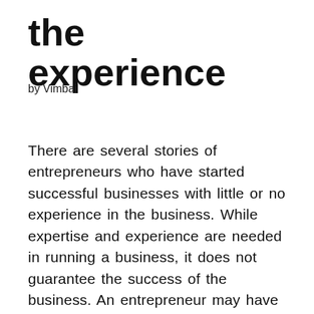the experience
by Vimbai
There are several stories of entrepreneurs who have started successful businesses with little or no experience in the business. While expertise and experience are needed in running a business, it does not guarantee the success of the business. An entrepreneur may have the technical know-how but may not have sufficient capital to run the business. Such a business may not last long.